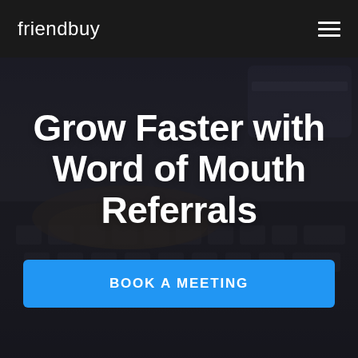friendbuy
Grow Faster with Word of Mouth Referrals
BOOK A MEETING